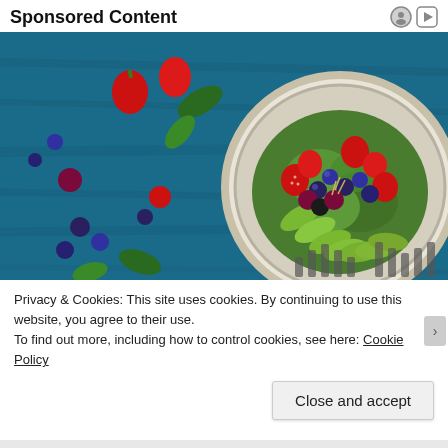Sponsored Content
[Figure (photo): A plate of fresh fruit and vegetable salad with avocado slices, strawberries, raspberries, blueberries, blackberries, and green leaves on a blue wooden background.]
Privacy & Cookies: This site uses cookies. By continuing to use this website, you agree to their use.
To find out more, including how to control cookies, see here: Cookie Policy
Close and accept